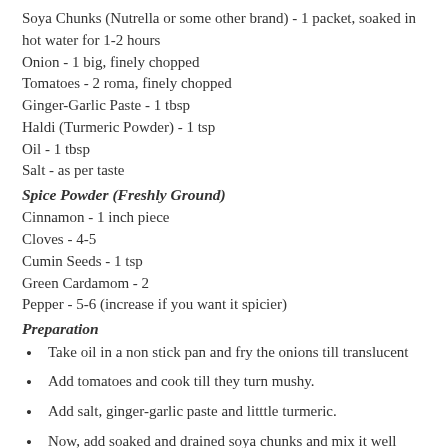Soya Chunks (Nutrella or some other brand) - 1 packet, soaked in hot water for 1-2 hours
Onion - 1 big, finely chopped
Tomatoes - 2 roma, finely chopped
Ginger-Garlic Paste - 1 tbsp
Haldi (Turmeric Powder) - 1 tsp
Oil - 1 tbsp
Salt - as per taste
Spice Powder (Freshly Ground)
Cinnamon - 1 inch piece
Cloves - 4-5
Cumin Seeds - 1 tsp
Green Cardamom - 2
Pepper - 5-6 (increase if you want it spicier)
Preparation
Take oil in a non stick pan and fry the onions till translucent
Add tomatoes and cook till they turn mushy.
Add salt, ginger-garlic paste and litttle turmeric.
Now, add soaked and drained soya chunks and mix it well